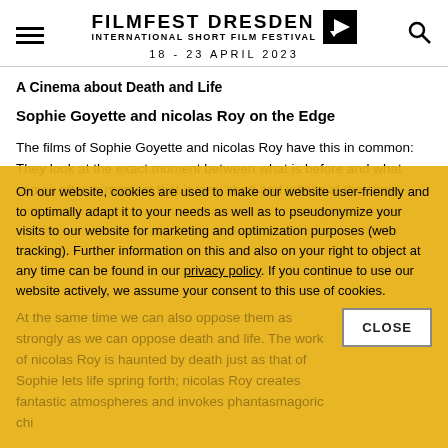FILMFEST DRESDEN INTERNATIONAL SHORT FILM FESTIVAL | 18 - 23 APRIL 2023
A Cinema about Death and Life
Sophie Goyette and nicolas Roy on the Edge
The films of Sophie Goyette and nicolas Roy have this in common: They look at the exact moment between what is before and what comes after, a moment that is very short and infinite at the same time, one where everything changes forever, nothing is the same.
On our website, cookies are used to make our website user-friendly and to optimally adapt it to your needs as well as to pseudonymize your visits to our website for marketing and optimization purposes (web tracking). Further information on this and also on your right to object at any time can be found in our privacy policy. If you continue to use our website actively, we assume your consent to this use of cookies.
At the same time we can also oppose them as strongly as we can oppose death and life. The work of nicolas Roy is haunted by death just as that of Sophie lets life spring forth; nicolas Roy creates fantastic atmospheres and invokes phantasmagoric chimeras, Sophie Goyette uses an aesthetic close to realism, always placed